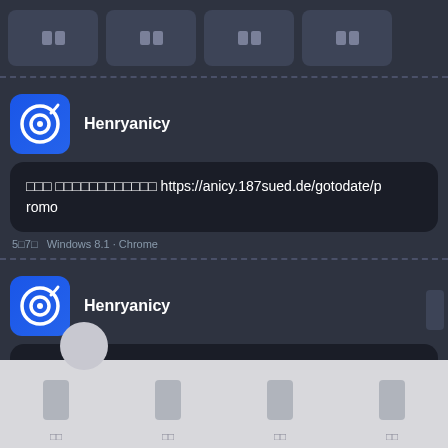[Figure (screenshot): Top navigation bar with four icon buttons on dark background]
Henryanicy
□□□ □□□□□□□□□□□□ https://anicy.187sued.de/gotodate/promo
5□7□   Windows 8.1 · Chrome
Henryanicy
□□□□□□□□□□□□□□□□□ https://anicy.187sued.de/gotodate/promo
5□7□   Windows 10 · Chrome
Henryanicy
[Figure (screenshot): Bottom navigation bar with four icon buttons on light grey background]